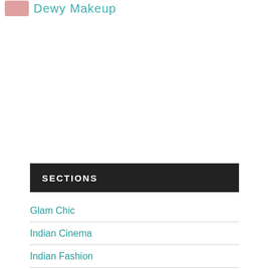Dewy Makeup
[Figure (other): Advertisement or blank area below header]
SECTIONS
Glam Chic
Indian Cinema
Indian Fashion
Indian Fashion Week